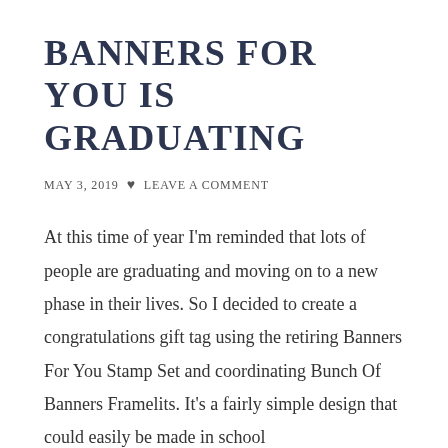BANNERS FOR YOU IS GRADUATING
MAY 3, 2019 ♥ LEAVE A COMMENT
At this time of year I'm reminded that lots of people are graduating and moving on to a new phase in their lives. So I decided to create a congratulations gift tag using the retiring Banners For You Stamp Set and coordinating Bunch Of Banners Framelits. It's a fairly simple design that could easily be made in school